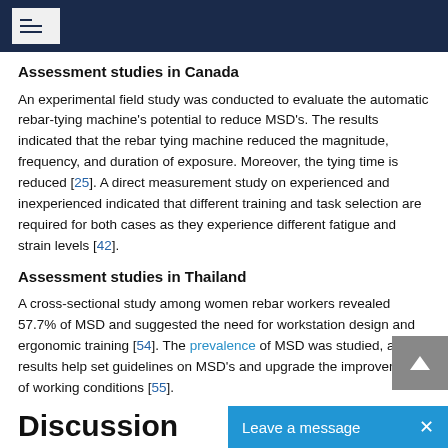Assessment studies in Canada
An experimental field study was conducted to evaluate the automatic rebar-tying machine's potential to reduce MSD's. The results indicated that the rebar tying machine reduced the magnitude, frequency, and duration of exposure. Moreover, the tying time is reduced [25]. A direct measurement study on experienced and inexperienced indicated that different training and task selection are required for both cases as they experience different fatigue and strain levels [42].
Assessment studies in Thailand
A cross-sectional study among women rebar workers revealed 57.7% of MSD and suggested the need for workstation design and ergonomic training [54]. The prevalence of MSD was studied, and results help set guidelines on MSD's and upgrade the improvement of working conditions [55].
Discussion